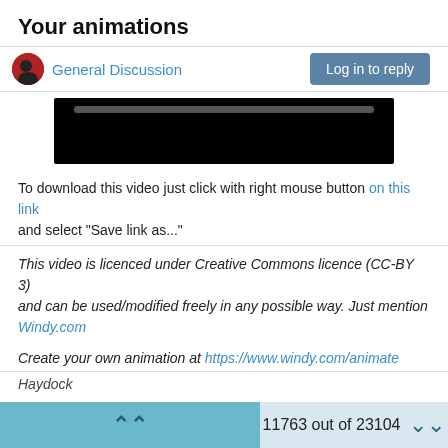Your animations
General Discussion
[Figure (screenshot): Video thumbnail with black background and a progress bar at top]
To download this video just click with right mouse button on this link and select "Save link as..."
This video is licenced under Creative Commons licence (CC-BY 3) and can be used/modified freely in any possible way. Just mention Windy.com
Create your own animation at https://www.windy.com/animate
Haydock
11763 out of 23104